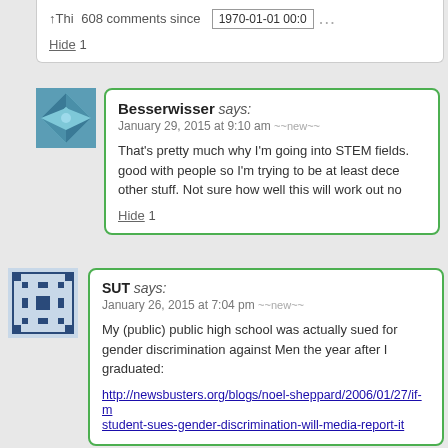Thi 608 comments since 1970-01-01 00:0
Hide 1
Besserwisser says:
January 29, 2015 at 9:10 am ~~new~~
That's pretty much why I'm going into STEM fields. good with people so I'm trying to be at least dece other stuff. Not sure how well this will work out no
Hide 1
SUT says:
January 26, 2015 at 7:04 pm ~~new~~
My (public) public high school was actually sued for gender discrimination against Men the year after I graduated:
http://newsbusters.org/blogs/noel-sheppard/2006/01/27/if-m student-sues-gender-discrimination-will-media-report-it